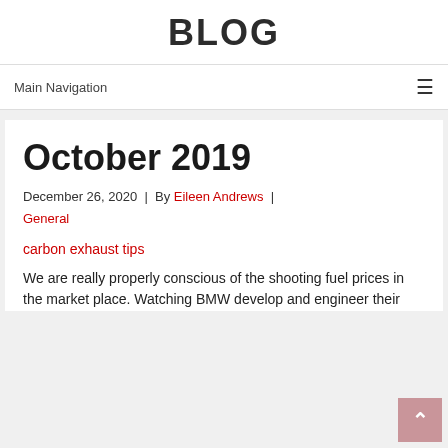BLOG
Main Navigation
October 2019
December 26, 2020  |  By Eileen Andrews  |  General
carbon exhaust tips
We are really properly conscious of the shooting fuel prices in the market place. Watching BMW develop and engineer their